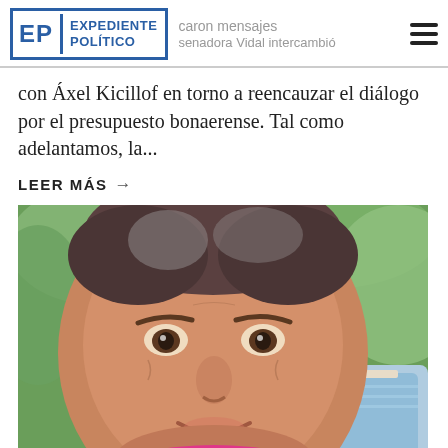Expediente Político
con Áxel Kicillof en torno a reencauzar el diálogo por el presupuesto bonaerense. Tal como adelantamos, la...
LEER MÁS →
[Figure (photo): Selfie photo of a middle-aged man wearing a bright pink/magenta shirt, with green trees and a pool visible in the background]